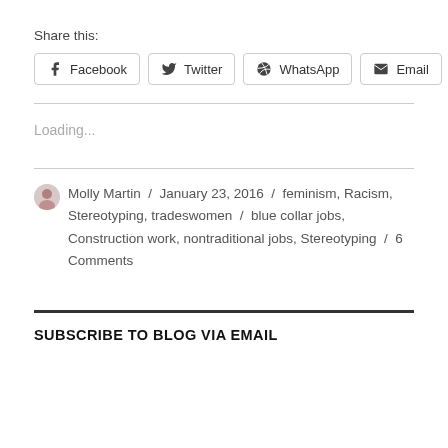Share this:
Facebook  Twitter  WhatsApp  Email
Loading...
Molly Martin / January 23, 2016 / feminism, Racism, Stereotyping, tradeswomen / blue collar jobs, Construction work, nontraditional jobs, Stereotyping / 6 Comments
SUBSCRIBE TO BLOG VIA EMAIL